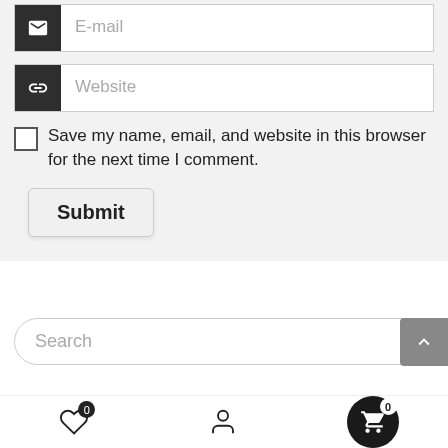[Figure (screenshot): Email input field with dark square icon showing envelope, and text input placeholder 'E-mail']
[Figure (screenshot): Website input field with dark square icon showing link/chain symbol, and text input placeholder 'Website']
Save my name, email, and website in this browser for the next time I comment.
Submit
Search
Recent Posts
[Figure (screenshot): Bottom navigation bar with heart icon (badge 0), person/user icon, and cart icon (badge 0) on black circle background]